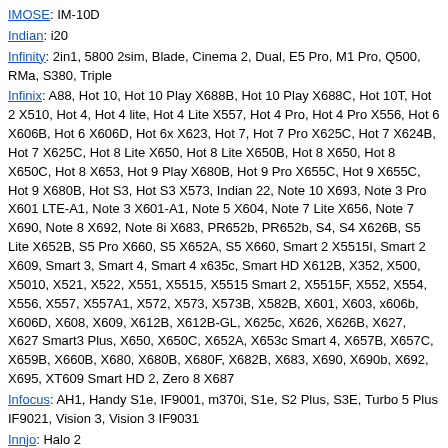IMOSE: IM-10D
Indian: i20
Infinity: 2in1, 5800 2sim, Blade, Cinema 2, Dual, E5 Pro, M1 Pro, Q500, RMa, S380, Triple
Infinix: A88, Hot 10, Hot 10 Play X688B, Hot 10 Play X688C, Hot 10T, Hot 2 X510, Hot 4, Hot 4 lite, Hot 4 Lite X557, Hot 4 Pro, Hot 4 Pro X556, Hot 6 X606B, Hot 6 X606D, Hot 6x X623, Hot 7, Hot 7 Pro X625C, Hot 7 X624B, Hot 7 X625C, Hot 8 Lite X650, Hot 8 Lite X650B, Hot 8 X650, Hot 8 X650C, Hot 8 X653, Hot 9 Play X680B, Hot 9 Pro X655C, Hot 9 X655C, Hot 9 X680B, Hot S3, Hot S3 X573, Indian 22, Note 10 X693, Note 3 Pro X601 LTE-A1, Note 3 X601-A1, Note 5 X604, Note 7 Lite X656, Note 7 X690, Note 8 X692, Note 8i X683, PR652b, PR652b, S4, S4 X626B, S5 Lite X652B, S5 Pro X660, S5 X652A, S5 X660, Smart 2 X5515I, Smart 2 X609, Smart 3, Smart 4, Smart 4 x635c, Smart HD X612B, X352, X500, X5010, X521, X522, X551, X5515, X5515 Smart 2, X5515F, X552, X554, X556, X557, X557A1, X572, X573, X573B, X582B, X601, X603, x606b, X606D, X608, X609, X612B, X612B-GL, X625c, X626, X626B, X627, X627 Smart3 Plus, X650, X650C, X652A, X653c Smart 4, X657B, X657C, X659B, X660B, X680, X680B, X680F, X682B, X683, X690, X690b, X692, X695, XT609 Smart HD 2, Zero 8 X687
Infocus: AH1, Handy S1e, IF9001, m370i, S1e, S2 Plus, S3E, Turbo 5 Plus IF9021, Vision 3, Vision 3 IF9031
Innjo: Halo 2
Innjoo: F1, Halo Plus, I1S, i2, I2S, One
Innostream: Inno 900
Innovo: i8510
Inoi: 3 Lite
Intex: 2x, 702, Alpha, Aone+, Aqua 3G, Aqua 3G Pro, Aqua 3G+, Aqua 4.5E, Aqua 4G+, Aqua A1, Aqua Air 2, Aqua Craze, Aqua Curve, Aqua FulVU e5, Aqua I14, Aqua i5, Aqua i6, Aqua I7, Aqua Life 2, Aqua Lions 2, Aqua Lions 4G, Aqua Lions T1 7.0, Aqua Lite, Aqua Marvel+, Aqua N11, Aqua P3, Aqua Power, Aqua Power 2, Aqua Power HD, Aqua Power+, Aqua Q1, Aqua Q1+, ...